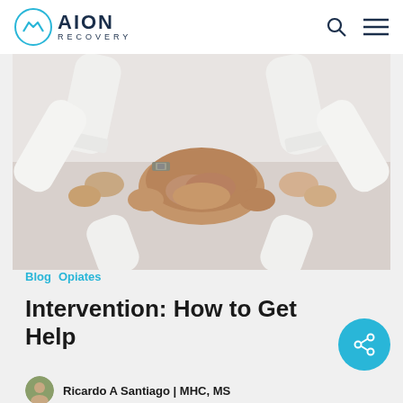AION RECOVERY
[Figure (photo): Overhead view of multiple people in white shirts placing their hands together in a team huddle gesture, symbolizing support and unity.]
Blog  Opiates
Intervention: How to Get Help
Ricardo A Santiago | MHC, MS